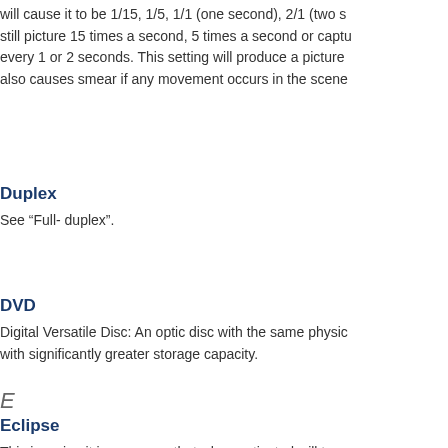will cause it to be 1/15, 1/5, 1/1 (one second), 2/1 (two s still picture 15 times a second, 5 times a second or captu every 1 or 2 seconds. This setting will produce a picture also causes smear if any movement occurs in the scene
Duplex
See “Full- duplex”.
DVD
Digital Versatile Disc: An optic disc with the same physic with significantly greater storage capacity.
E
Eclipse
This is a circuit in a camera that when activated will turn the picture into black. An example of this is when an auto are in a scene the circuit will “eclipse” the headlights ano leaving only a thin halo where the extremely bright white